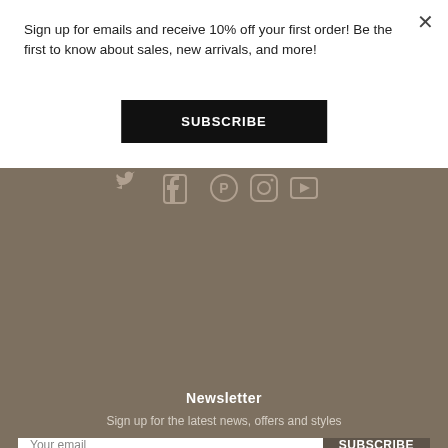Sign up for emails and receive 10% off your first order! Be the first to know about sales, new arrivals, and more!
SUBSCRIBE
Newsletter
Sign up for the latest news, offers and styles
Your email
SUBSCRIBE
Copyright © 2022, Walker Edison.